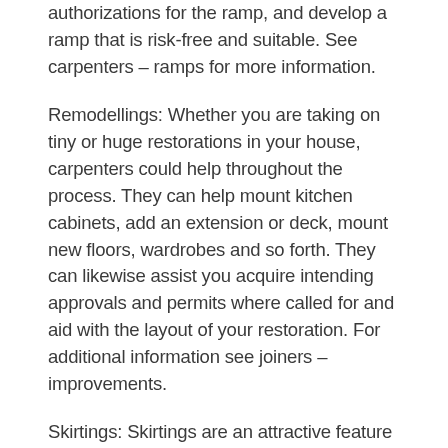authorizations for the ramp, and develop a ramp that is risk-free and suitable. See carpenters – ramps for more information.
Remodellings: Whether you are taking on tiny or huge restorations in your house, carpenters could help throughout the process. They can help mount kitchen cabinets, add an extension or deck, mount new floors, wardrobes and so forth. They can likewise assist you acquire intending approvals and permits where called for and aid with the layout of your restoration. For additional information see joiners – improvements.
Skirtings: Skirtings are an attractive feature that can give the finishing